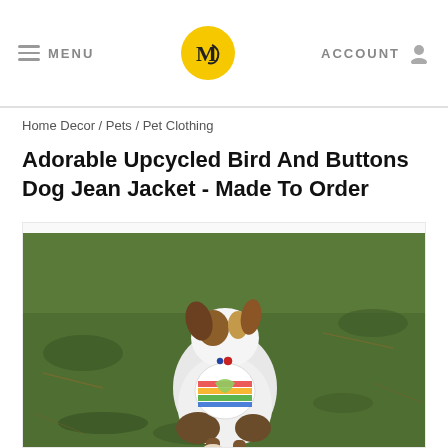MENU | [logo] | ACCOUNT
Home Decor / Pets / Pet Clothing
Adorable Upcycled Bird And Buttons Dog Jean Jacket - Made To Order
[Figure (photo): A small dog, viewed from behind, wearing a white top with a colorful bird and buttons design patch on the back, sitting on grass outdoors]